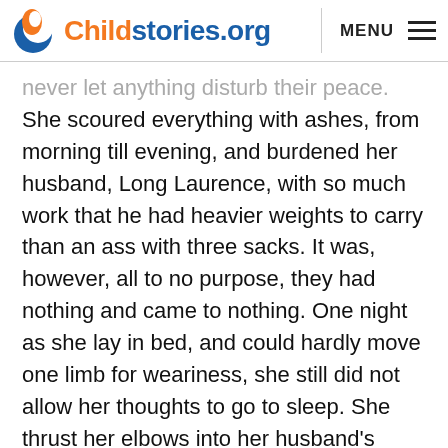Childstories.org  MENU
never let anything disturb their peace. She scoured everything with ashes, from morning till evening, and burdened her husband, Long Laurence, with so much work that he had heavier weights to carry than an ass with three sacks. It was, however, all to no purpose, they had nothing and came to nothing. One night as she lay in bed, and could hardly move one limb for weariness, she still did not allow her thoughts to go to sleep. She thrust her elbows into her husband’s side, and said, „Listen, Lenz, to what I have been thinking: if I were to